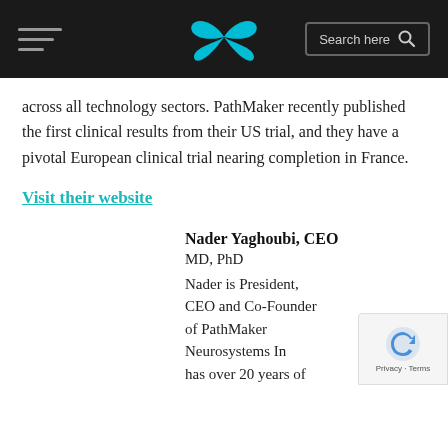Navigation bar with hamburger menu, butterfly logo, and search box
across all technology sectors. PathMaker recently published the first clinical results from their US trial, and they have a pivotal European clinical trial nearing completion in France.
Visit their website
Nader Yaghoubi, CEO
MD, PhD
Nader is President, CEO and Co-Founder of PathMaker Neurosystems In[c.] has over 20 years of